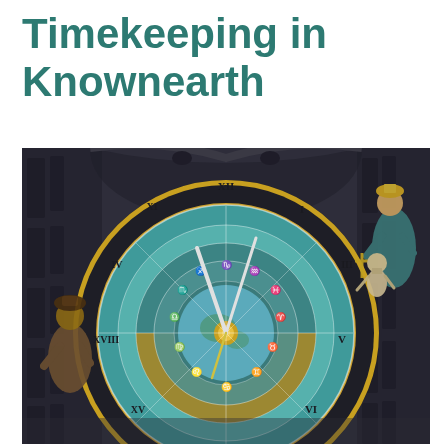Timekeeping in Knownearth
[Figure (photo): Close-up photograph of an ornate medieval astronomical clock mounted on a Gothic stone building. The clock face is circular with concentric rings showing astronomical data, zodiac symbols, and Roman numerals, rendered in shades of teal, blue, turquoise, and gold. Gothic stone statues of robed figures flank both sides of the clock on the building facade. The clock hands are metallic and point toward the upper portion of the dial. The overall color palette is dark stone gray with vibrant teal and gold accents on the clock face.]